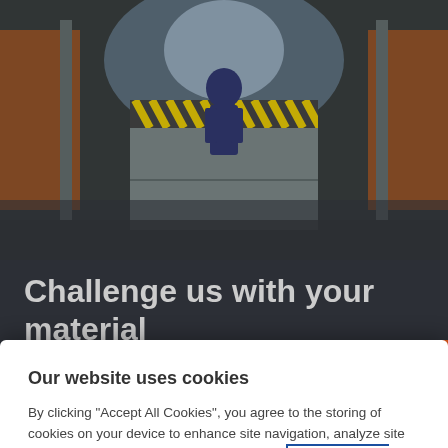[Figure (photo): Industrial warehouse scene with a worker and large metal container with yellow/black hazard stripes, heavy lifting equipment visible]
Challenge us with your material
Our website uses cookies
By clicking "Accept All Cookies", you agree to the storing of cookies on your device to enhance site navigation, analyze site usage, and assist in our marketing efforts. TOMRA Cookie Policy
Cookies Settings
Accept All Cookies